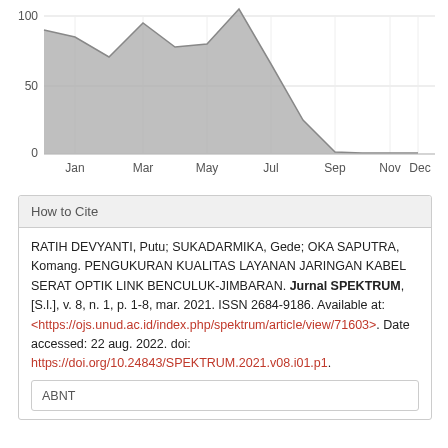[Figure (area-chart): Area chart showing monthly article views across the year, peaking around May-June (~105), with high values Jan-Jul then dropping to near zero Sep-Dec.]
How to Cite
RATIH DEVYANTI, Putu; SUKADARMIKA, Gede; OKA SAPUTRA, Komang. PENGUKURAN KUALITAS LAYANAN JARINGAN KABEL SERAT OPTIK LINK BENCULUK-JIMBARAN. Jurnal SPEKTRUM, [S.l.], v. 8, n. 1, p. 1-8, mar. 2021. ISSN 2684-9186. Available at: <https://ojs.unud.ac.id/index.php/spektrum/article/view/71603>. Date accessed: 22 aug. 2022. doi: https://doi.org/10.24843/SPEKTRUM.2021.v08.i01.p1.
ABNT